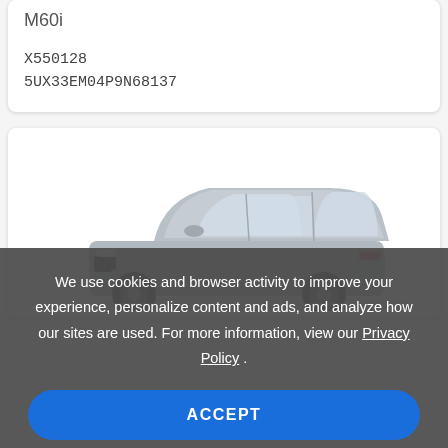M60i
X550128
5UX33EM04P9N68137
[Figure (photo): Silver BMW SUV (X5 M60i) shown from the side, facing right, on a white background inside a card]
We use cookies and browser activity to improve your experience, personalize content and ads, and analyze how our sites are used. For more information, view our Privacy Policy .
ACCEPT